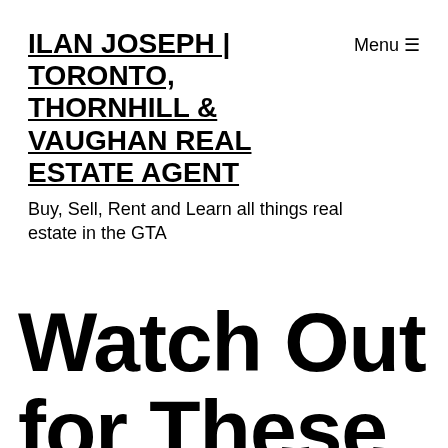ILAN JOSEPH | TORONTO, THORNHILL & VAUGHAN REAL ESTATE AGENT
Buy, Sell, Rent and Learn all things real estate in the GTA
Watch Out for These Pitfalls